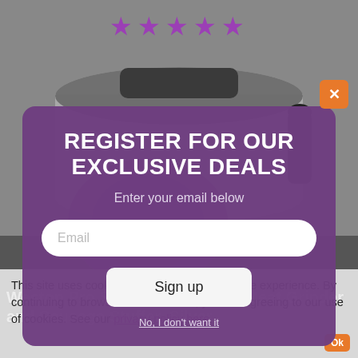[Figure (screenshot): Screenshot of an e-commerce product page showing an electric meat grinder with a purple promotional modal overlay and a cookie consent bar at the bottom.]
REGISTER FOR OUR EXCLUSIVE DEALS
Enter your email below
Email
Sign up
No, I don't want it
This site uses cookies to enhance your web site experience. By continuing to browse or use this site, you are agreeing to our use of cookies. See our privacy policy here.
Weston Pro Series #32 Electric Meat Grinder and Sausage Stuffer, Silver